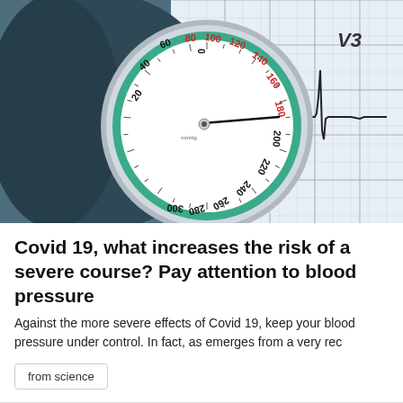[Figure (photo): A blood pressure gauge (sphygmomanometer dial) with numbers 20-300, green ring, needle pointing near 120, resting on an ECG/EKG paper chart showing a heartbeat waveform with 'V3' label. Medical equipment photographed close-up with dark blue/teal background.]
Covid 19, what increases the risk of a severe course? Pay attention to blood pressure
Against the more severe effects of Covid 19, keep your blood pressure under control. In fact, as emerges from a very rec
from science